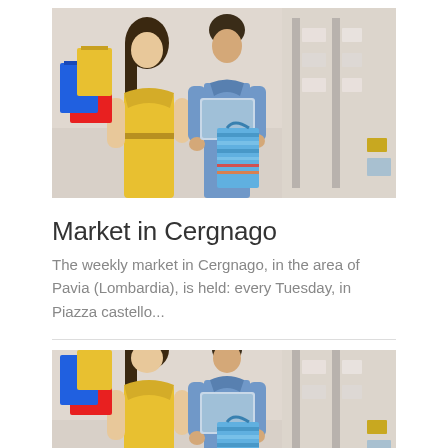[Figure (photo): A couple shopping in a retail store. The woman wears a yellow dress and carries colorful shopping bags. The man in a blue shirt holds a tablet device. Store shelves visible in background.]
Market in Cergnago
The weekly market in Cergnago, in the area of Pavia (Lombardia), is held: every Tuesday, in Piazza castello...
[Figure (photo): Same couple shopping in a retail store, cropped version. The woman wears a yellow dress and carries colorful shopping bags. The man in a blue shirt holds a tablet device.]